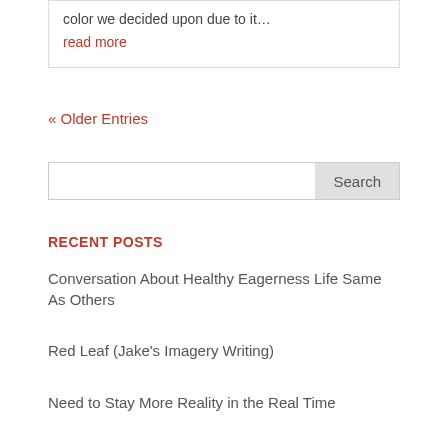color we decided upon due to it…
read more
« Older Entries
Search
RECENT POSTS
Conversation About Healthy Eagerness Life Same As Others
Red Leaf (Jake's Imagery Writing)
Need to Stay More Reality in the Real Time